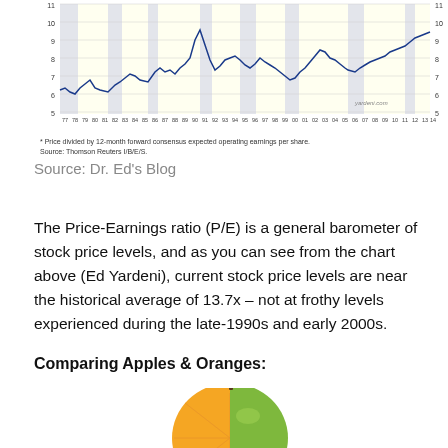[Figure (continuous-plot): Line chart of Price-Earnings ratio (P/E) over time from 1977 to 2016, showing historical P/E levels with shaded recession bands. Y-axis ranges approximately 5 to 11+. Source: yardeni.com]
* Price divided by 12-month forward consensus expected operating earnings per share.
Source: Thomson Reuters I/B/E/S.
Source: Dr. Ed's Blog
The Price-Earnings ratio (P/E) is a general barometer of stock price levels, and as you can see from the chart above (Ed Yardeni), current stock price levels are near the historical average of 13.7x – not at frothy levels experienced during the late-1990s and early 2000s.
Comparing Apples & Oranges:
[Figure (photo): A hybrid apple-orange fruit photo showing half green apple and half orange slice combined into one fruit shape.]